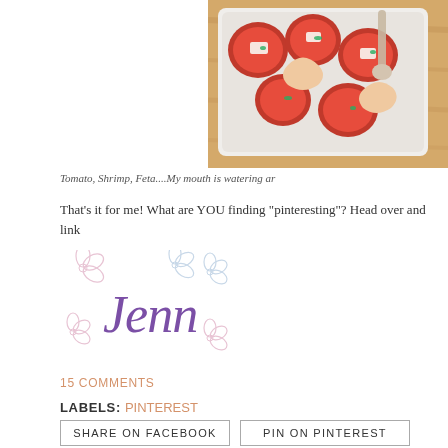[Figure (photo): Food photo showing a white baking dish with tomato, shrimp, and feta dish on a wooden surface, cropped at top-right of page]
Tomato, Shrimp, Feta....My mouth is watering ar
That's it for me! What are YOU finding "pinteresting"? Head over and link
[Figure (illustration): Cursive signature reading 'Jenn' in purple with decorative flower illustrations around it]
15 COMMENTS
LABELS: PINTEREST
SHARE ON FACEBOOK
PIN ON PINTEREST